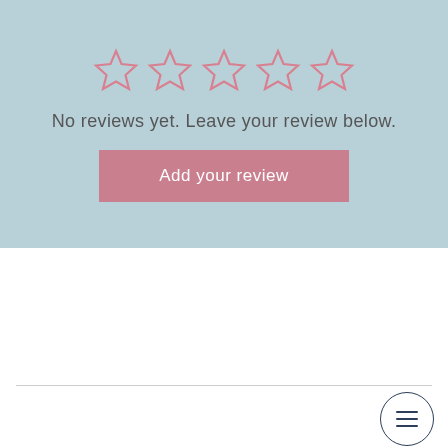[Figure (illustration): Five empty star rating icons in pink/rose outline color arranged in a row]
No reviews yet. Leave your review below.
[Figure (other): Pink rectangular button labeled 'Add your review']
[Figure (other): Circular hamburger menu icon in bottom right corner]